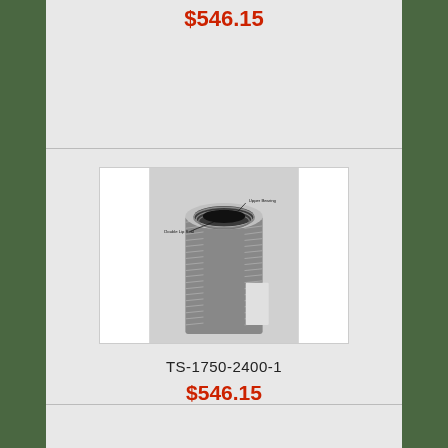$546.15
[Figure (photo): Close-up top view of a cylindrical pump or filter component (TS-1750-2400-1) with labeled parts: 'Upper Bearing' pointing to the inner ring area, and 'Double Lip Seal' pointing to the lower seal area. The component has a helical/coiled exterior and a black rubber seal ring visible inside.]
TS-1750-2400-1
$546.15